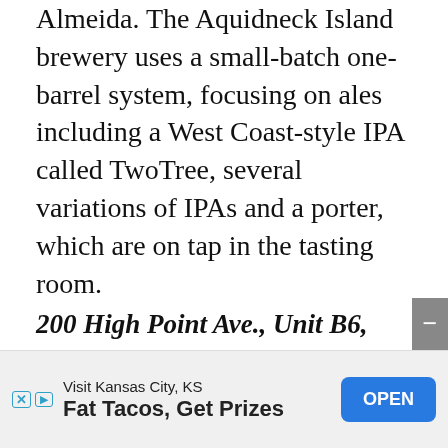Almeida. The Aquidneck Island brewery uses a small-batch one-barrel system, focusing on ales including a West Coast-style IPA called TwoTree, several variations of IPAs and a porter, which are on tap in the tasting room.
200 High Point Ave., Unit B6, Portsmouth, 318-2991, raggedislandbrewing.com
Proclamation Ale: We got the scoop on the brewery's past, present and future expansion.
Tilted Barn Brewery: A tree farm-turned-brewery sources hops and maple syrup onsite.
Newport founded
[Figure (other): Advertisement overlay: Visit Kansas City, KS - Fat Tacos, Get Prizes with OPEN button]